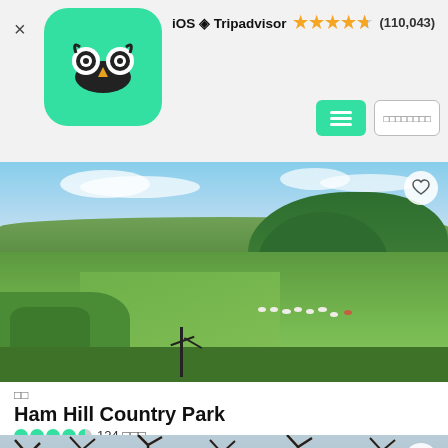iOS Tripadvisor (110,043)
[Figure (photo): Aerial landscape view of Ham Hill Country Park showing green rolling hills, woodland, sheep grazing, and countryside in the background]
□□
Ham Hill Country Park
●●●●◐ 124 □□□
Stoke sub Hamdon□□□ 1 □□□□□□ (□ 3 □)
[Figure (photo): Winter bare tree silhouettes against a pale sky]